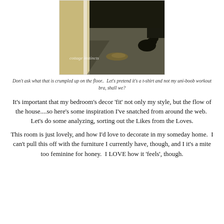[Figure (photo): Dark interior photo showing a bedroom hallway or doorway area with carpeted floor and a cat partially visible. A crumpled item is on the floor. Watermark reads 'cottage instincts' in cursive.]
Don't ask what that is crumpled up on the floor..  Let's pretend it's a t-shirt and not my uni-boob workout bra, shall we?
It's important that my bedroom's decor 'fit' not only my style, but the flow of the house....so here's some inspiration I've snatched from around the web.  Let's do some analyzing, sorting out the Likes from the Loves.
This room is just lovely, and how I'd love to decorate in my someday home.  I can't pull this off with the furniture I currently have, though, and I it's a mite too feminine for honey.  I LOVE how it 'feels', though.